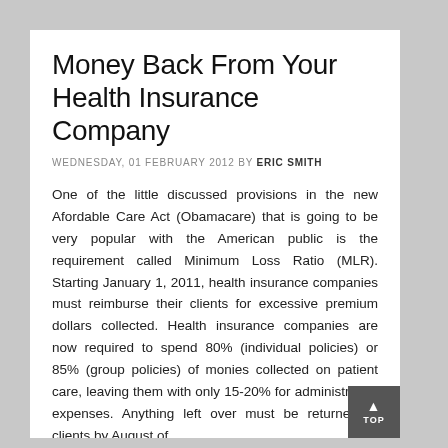Money Back From Your Health Insurance Company
WEDNESDAY, 01 FEBRUARY 2012 BY ERIC SMITH
One of the little discussed provisions in the new Afordable Care Act (Obamacare) that is going to be very popular with the American public is the requirement called Minimum Loss Ratio (MLR). Starting January 1, 2011, health insurance companies must reimburse their clients for excessive premium dollars collected. Health insurance companies are now required to spend 80% (individual policies) or 85% (group policies) of monies collected on patient care, leaving them with only 15-20% for administrative expenses. Anything left over must be returned to clients by August of the following